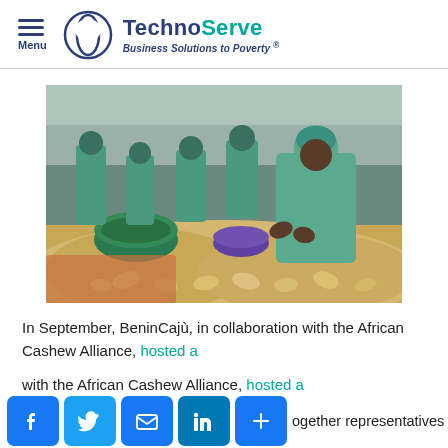Menu | TechnoServe — Business Solutions to Poverty ®
[Figure (photo): Workers in green uniforms and hairnets sorting cashew nuts at a processing facility, with large green bowls and piles of cashews visible.]
In September, BeninCajù, in collaboration with the African Cashew Alliance, hosted a [link] together representatives